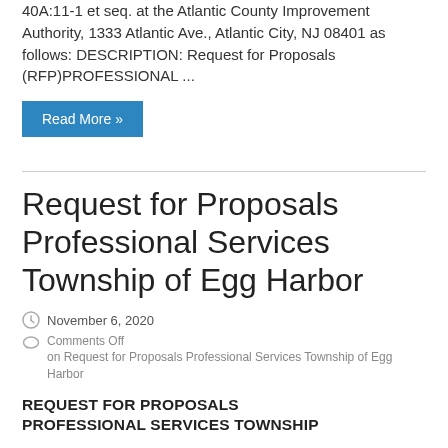40A:11-1 et seq. at the Atlantic County Improvement Authority, 1333 Atlantic Ave., Atlantic City, NJ 08401 as follows: DESCRIPTION: Request for Proposals (RFP)PROFESSIONAL ...
Read More »
Request for Proposals Professional Services Township of Egg Harbor
November 6, 2020
Comments Off on Request for Proposals Professional Services Township of Egg Harbor
REQUEST FOR PROPOSALS
PROFESSIONAL SERVICES TOWNSHIP